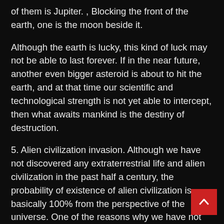of them is Jupiter. , Blocking the front of the earth, one is the moon beside it.
Although the earth is lucky, this kind of luck may not be able to last forever. If in the near future, another even bigger asteroid is about to hit the earth, and at that time our scientific and technological strength is not yet able to intercept, then what awaits mankind is the destiny of destruction.
5. Alien civilization invasion. Although we have not discovered any extraterrestrial life and alien civilization in the past half a century, the probability of existence of alien civilization is basically 100% from the perspective of the universe. One of the reasons why we have not had contact with alien civilizations is that human beings are still very we in science and technology, and have not yet been able to go out of the solar system to explore other galaxies.